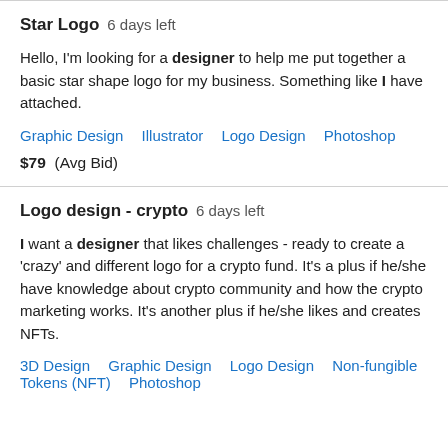Star Logo  6 days left
Hello, I'm looking for a designer to help me put together a basic star shape logo for my business. Something like I have attached.
Graphic Design    Illustrator    Logo Design    Photoshop
$79  (Avg Bid)
Logo design - crypto  6 days left
I want a designer that likes challenges - ready to create a 'crazy' and different logo for a crypto fund. It's a plus if he/she have knowledge about crypto community and how the crypto marketing works. It's another plus if he/she likes and creates NFTs.
3D Design    Graphic Design    Logo Design    Non-fungible Tokens (NFT)    Photoshop